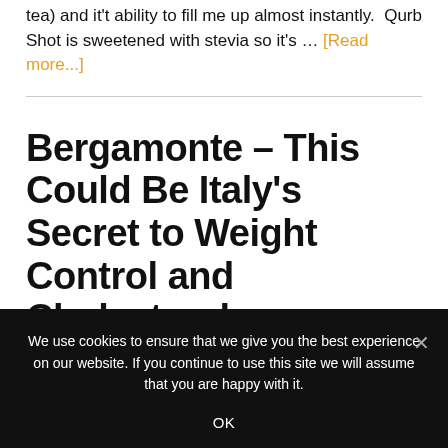tea) and it't ability to fill me up almost instantly.  Qurb Shot is sweetened with stevia so it's … [Read more...]
Bergamonte – This Could Be Italy's Secret to Weight Control and Cholesterol
We use cookies to ensure that we give you the best experience on our website. If you continue to use this site we will assume that you are happy with it.
OK